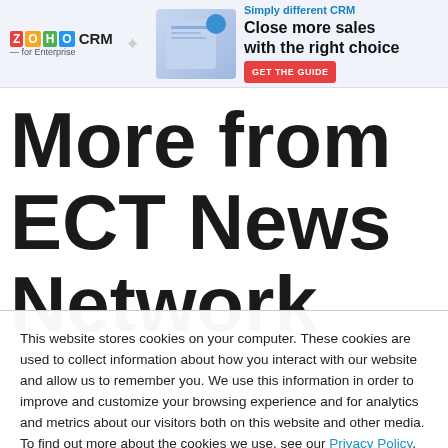[Figure (other): ZOHO CRM for Enterprise advertisement banner with logo, product image, tagline 'Simply different CRM', headline 'Close more sales with the right choice', and a red 'GET THE GUIDE' button]
More from ECT News Network
This website stores cookies on your computer. These cookies are used to collect information about how you interact with our website and allow us to remember you. We use this information in order to improve and customize your browsing experience and for analytics and metrics about our visitors both on this website and other media. To find out more about the cookies we use, see our Privacy Policy. California residents have the right to direct us not to sell their personal information to third parties by filing an Opt-Out Request: Do Not Sell My Personal Info.